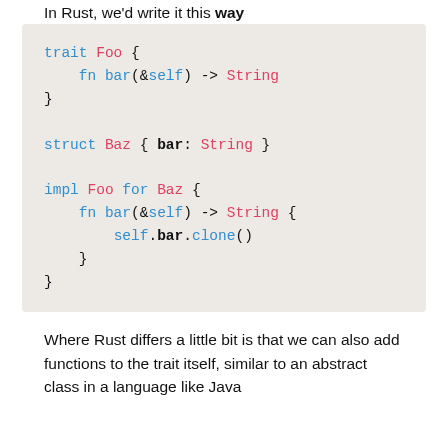In Rust, we'd write it this way
[Figure (screenshot): Rust code block showing a trait Foo with fn bar(&self) -> String, a struct Baz with bar: String field, and impl Foo for Baz implementing fn bar(&self) -> String { self.bar.clone() }]
Where Rust differs a little bit is that we can also add functions to the trait itself, similar to an abstract class in a language like Java